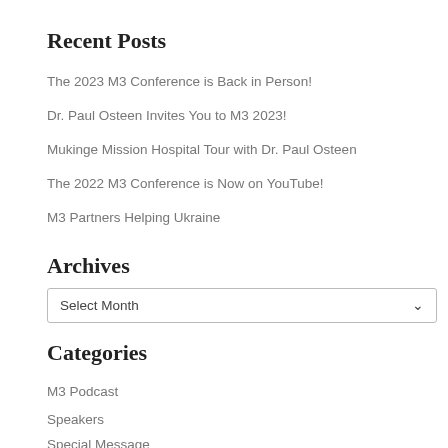Recent Posts
The 2023 M3 Conference is Back in Person!
Dr. Paul Osteen Invites You to M3 2023!
Mukinge Mission Hospital Tour with Dr. Paul Osteen
The 2022 M3 Conference is Now on YouTube!
M3 Partners Helping Ukraine
Archives
Select Month
Categories
M3 Podcast
Speakers
Special Message